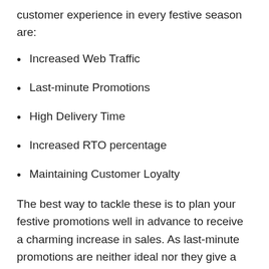customer experience in every festive season are:
Increased Web Traffic
Last-minute Promotions
High Delivery Time
Increased RTO percentage
Maintaining Customer Loyalty
The best way to tackle these is to plan your festive promotions well in advance to receive a charming increase in sales. As last-minute promotions are neither ideal nor they give a good response. On-time delivery of the order decreases RTO percentage and will increase the loyalty of the customer towards your